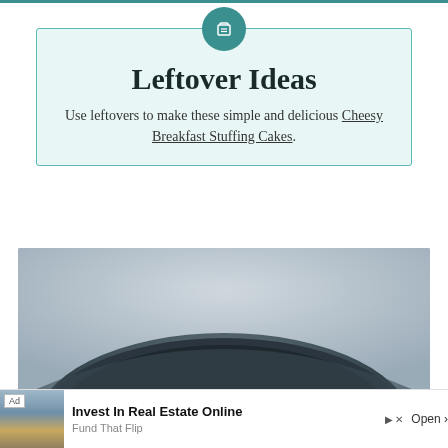Leftover Ideas
Use leftovers to make these simple and delicious Cheesy Breakfast Stuffing Cakes.
[Figure (photo): Close-up photo of a dark cast iron or non-stick skillet/pan viewed from above, with blurred light background]
[Figure (photo): Advertisement banner: Ad for 'Invest In Real Estate Online' - Fund That Flip, with Open button, showing a real estate house photo]